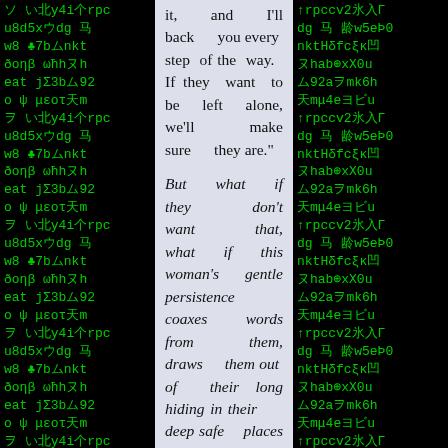[Figure (other): Dark background with green Matrix-style characters and symbols on the left side]
it, and I'll back you every step of the way. If they want to be left alone, we'll make sure they are."

But what if they don't want that, what if this woman's gentle persistence coaxes words from them, draws them out of their long hiding in their deep safe places and then
[Figure (other): Dark background with green Matrix-style characters and symbols on the right side]